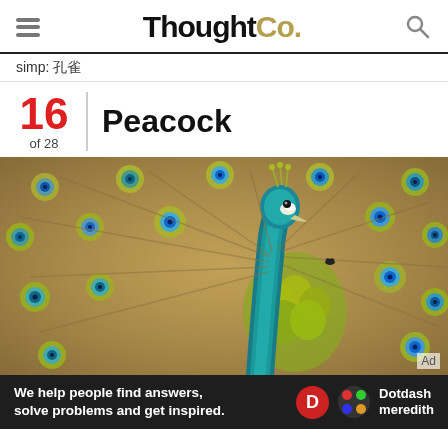ThoughtCo.
simp: 孔雀
16 of 28 | Peacock
[Figure (photo): A peacock with its tail feathers spread wide, showing colorful eye-spots in shades of gold, green, and blue. The peacock's head and neck are vivid teal/blue. A small 'Ad' label appears in the lower right.]
We help people find answers, solve problems and get inspired. Dotdash meredith